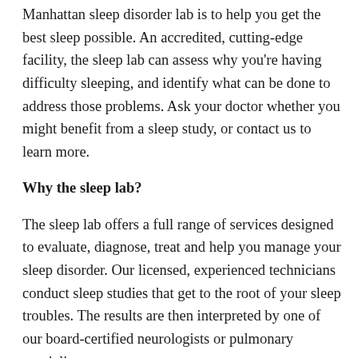Manhattan sleep disorder lab is to help you get the best sleep possible. An accredited, cutting-edge facility, the sleep lab can assess why you're having difficulty sleeping, and identify what can be done to address those problems. Ask your doctor whether you might benefit from a sleep study, or contact us to learn more.
Why the sleep lab?
The sleep lab offers a full range of services designed to evaluate, diagnose, treat and help you manage your sleep disorder. Our licensed, experienced technicians conduct sleep studies that get to the root of your sleep troubles. The results are then interpreted by one of our board-certified neurologists or pulmonary specialists.